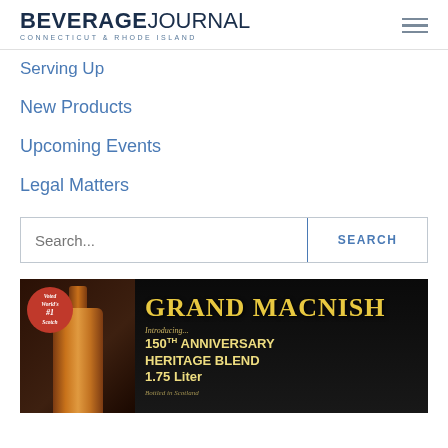BEVERAGE JOURNAL CONNECTICUT & RHODE ISLAND
Serving Up
New Products
Upcoming Events
Legal Matters
Search...
[Figure (photo): Grand Macnish 150th Anniversary Heritage Blend 1.75 Liter Scotch advertisement. Shows a bottle of Grand Macnish Scotch with a red badge reading 'Voted World's #1 Scotch'. Text on dark background reads: 'GRAND MACNISH Introducing... 150th ANNIVERSARY HERITAGE BLEND 1.75 Liter Bottled in Scotland']